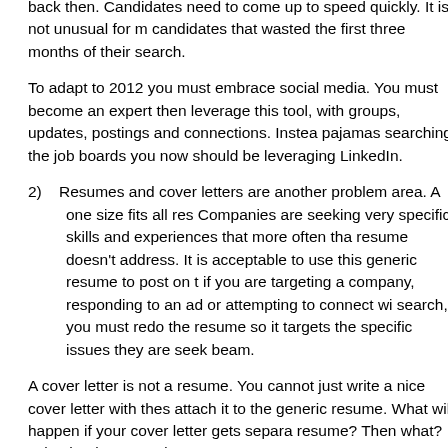back then. Candidates need to come up to speed quickly. It is not unusual for m… candidates that wasted the first three months of their search.
To adapt to 2012 you must embrace social media. You must become an expert then leverage this tool, with groups, updates, postings and connections. Instea… pajamas searching the job boards you now should be leveraging LinkedIn.
2)   Resumes and cover letters are another problem area. A one size fits all res… Companies are seeking very specific skills and experiences that more often tha… resume doesn't address. It is acceptable to use this generic resume to post on t… if you are targeting a company, responding to an ad or attempting to connect wi… search, you must redo the resume so it targets the specific issues they are seek… beam.
A cover letter is not a resume. You cannot just write a nice cover letter with thes… attach it to the generic resume. What will happen if your cover letter gets separa… resume? Then what? Take the time to update your resume.
3)   Interviewing is much more than explaining your background. It is about con… interviewer. For most interviews, you wouldn't even be there if the interviewer di… met the basic skills and experience. So rule number one is listen, hear and answ… asked. Do it in a way that connects with the company's culture and the interview… if your background is in very large companies and you are interviewing at a sma… constantly emphasizing how you managed a large staff and had a budget that w… sales of the company, is probably the best way to communicate that you need…